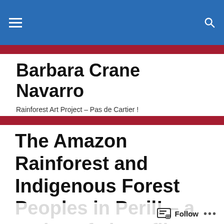Barbara Crane Navarro — Rainforest Art Project – Pas de Cartier !
Barbara Crane Navarro
Rainforest Art Project – Pas de Cartier !
The Amazon Rainforest and Indigenous Forest Peoples in Peril! – a series of short films by Barbara Crane Navarro – 10 – « YANOMAMI children and their community in the Amazon rainforest »...